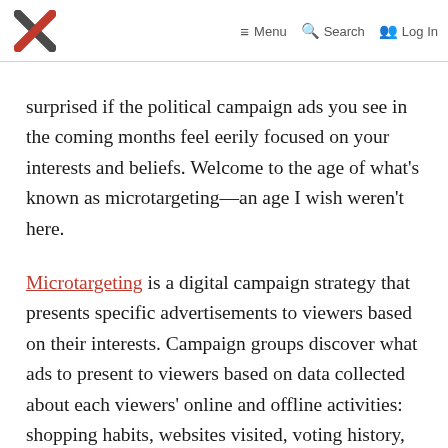X  Menu  Search  Log In
surprised if the political campaign ads you see in the coming months feel eerily focused on your interests and beliefs. Welcome to the age of what's known as microtargeting—an age I wish weren't here.
Microtargeting is a digital campaign strategy that presents specific advertisements to viewers based on their interests. Campaign groups discover what ads to present to viewers based on data collected about each viewers' online and offline activities: shopping habits, websites visited, voting history, tweets, etc.